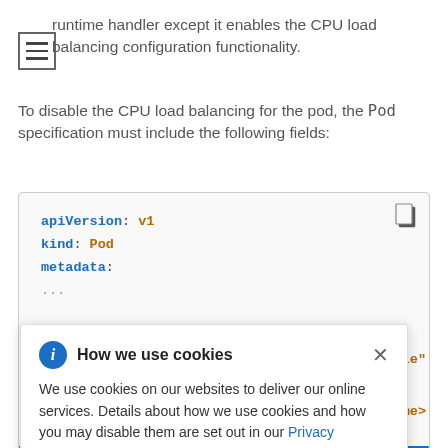runtime handler except it enables the CPU load balancing configuration functionality.
To disable the CPU load balancing for the pod, the Pod specification must include the following fields:
[Figure (screenshot): Code block showing YAML snippet: apiVersion: v1, kind: Pod, metadata: with a blue bottom border line and a copy icon in the top right corner. Partially obscured by cookie consent dialog.]
How we use cookies

We use cookies on our websites to deliver our online services. Details about how we use cookies and how you may disable them are set out in our Privacy Statement. By using this website you agree to our use of cookies.